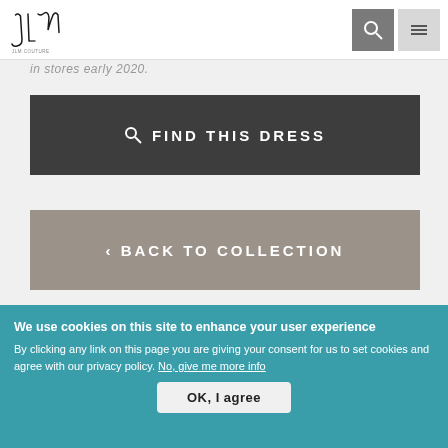JLM Couture logo with search and menu icons
in stores early 2020.
FIND THIS DRESS
‹ BACK TO COLLECTION
We use cookies on this site to enhance your user experience
By clicking any link on this page you are giving your consent for us to set cookies and agree with our privacy policy. No, give me more info
OK, I agree